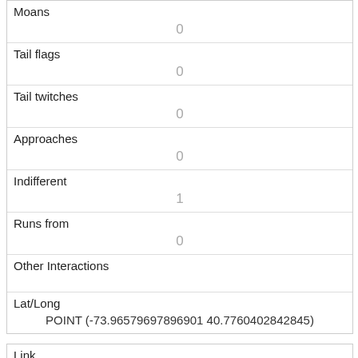| Field | Value |
| --- | --- |
| Moans | 0 |
| Tail flags | 0 |
| Tail twitches | 0 |
| Approaches | 0 |
| Indifferent | 1 |
| Runs from | 0 |
| Other Interactions |  |
| Lat/Long | POINT (-73.96579697896901 40.7760402842845) |
| Field | Value |
| --- | --- |
| Link | 197 |
| rowid | 197 |